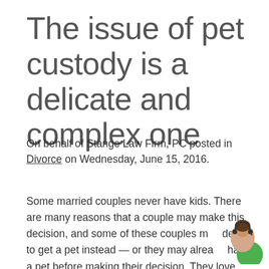The issue of pet custody is a delicate and complex one
On behalf of Stange Law Firm, PC posted in Divorce on Wednesday, June 15, 2016.
Some married couples never have kids. There are many reasons that a couple may make this decision, and some of these couples may decide to get a pet instead — or they may already have a pet before making their decision. They love their